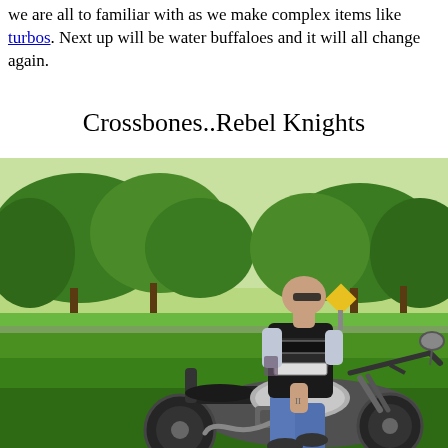we are all to familiar with as we make complex items like turbos. Next up will be water buffaloes and it will all change again.
Crossbones..Rebel Knights
[Figure (photo): A man wearing a black leather vest with 'Rebel Knights' and 'Indiana' patches, sitting on a Harley-Davidson motorcycle in a green grassy area with trees in the background.]